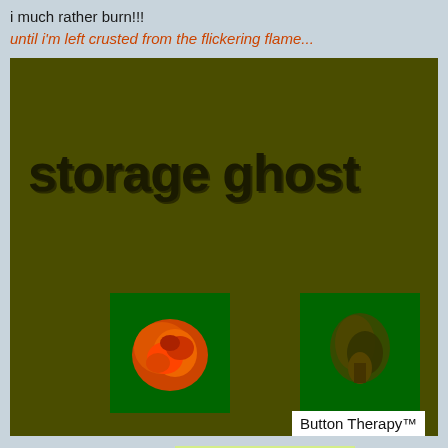i much rather burn!!!
until i'm left crusted from the flickering flame...
[Figure (illustration): Dark olive/army green background box containing the text 'storage ghost' in large black bold font, two smaller green-background thumbnail images (left: orange/red organic blob shape; right: dark organic shape on green), and a bottom center thumbnail on yellow-green background showing a gallery of small artwork images]
Button Therapy™